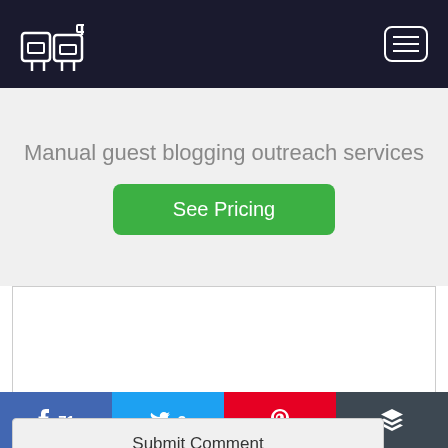[Figure (screenshot): Dark navy header bar with mailbox icon on left and hamburger menu icon on right]
Manual guest blogging outreach services
See Pricing
[Figure (screenshot): Comment text area input box with border]
Submit Comment
[Figure (infographic): Social share bar with Facebook (71), Twitter (3), Pinterest, and Buffer buttons]